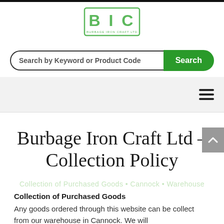[Figure (logo): BIC (Burbage Iron Craft Ltd) logo with green border and text]
[Figure (screenshot): Search bar with text 'Search by Keyword or Product Code' and green Search button]
[Figure (screenshot): Navigation bar with hamburger menu icon on the right]
Burbage Iron Craft Ltd – Collection Policy
Collection of Purchased Goods
Any goods ordered through this website can be collect from our warehouse in Cannock. We will